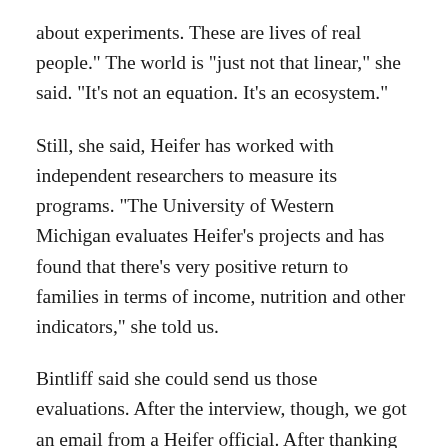about experiments. These are lives of real people." The world is "just not that linear," she said. "It's not an equation. It's an ecosystem."
Still, she said, Heifer has worked with independent researchers to measure its programs. "The University of Western Michigan evaluates Heifer's projects and has found that there's very positive return to families in terms of income, nutrition and other indicators," she told us.
Bintliff said she could send us those evaluations. After the interview, though, we got an email from a Heifer official. After thanking us for our interest she wrote: "As the sources cited are unpublished, we're not able to provide further information publicly at this time."
Until pretty recently, the charity world has been about doing